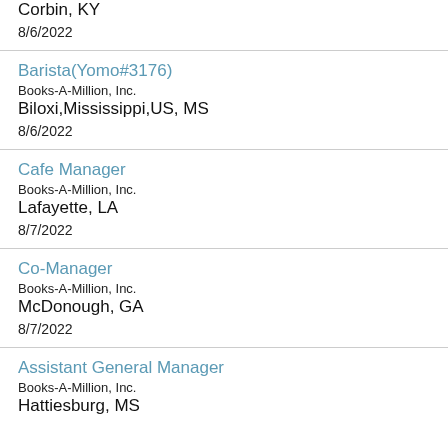Corbin, KY
8/6/2022
Barista(Yomo#3176)
Books-A-Million, Inc.
Biloxi,Mississippi,US, MS
8/6/2022
Cafe Manager
Books-A-Million, Inc.
Lafayette, LA
8/7/2022
Co-Manager
Books-A-Million, Inc.
McDonough, GA
8/7/2022
Assistant General Manager
Books-A-Million, Inc.
Hattiesburg, MS